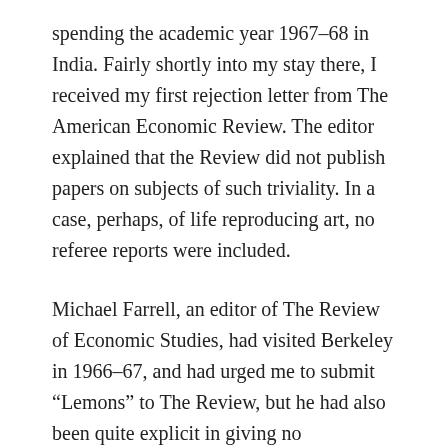spending the academic year 1967–68 in India. Fairly shortly into my stay there, I received my first rejection letter from The American Economic Review. The editor explained that the Review did not publish papers on subjects of such triviality. In a case, perhaps, of life reproducing art, no referee reports were included.
Michael Farrell, an editor of The Review of Economic Studies, had visited Berkeley in 1966–67, and had urged me to submit “Lemons” to The Review, but he had also been quite explicit in giving no guarantees. I submitted “Lemons” there, which was again rejected on the grounds that the The Review did not publish papers on topics of such triviality.
The next rejection was more interesting. I sent “Lemons”